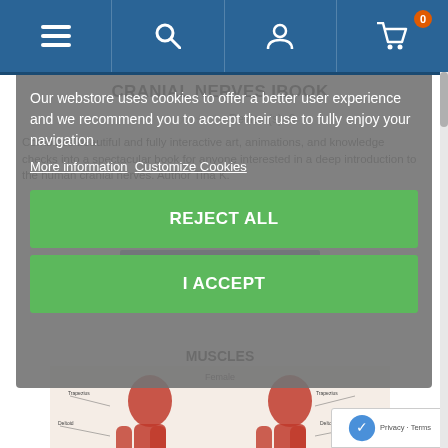Navigation bar with menu, search, account, and cart icons (cart badge: 0)
CRANIAL NERVES IBOOK
Review(s): 0
Combines beautiful and fully interactive art, animations, and knowledge checks into a spectacular book for anyone interested in a deep introduction to the human cranial nerves. Author Tina K.
MUSCLES
[Figure (illustration): Female muscular anatomy diagram showing front and back views]
Our webstore uses cookies to offer a better user experience and we recommend you to accept their use to fully enjoy your navigation.
More information   Customize Cookies
REJECT ALL
I ACCEPT